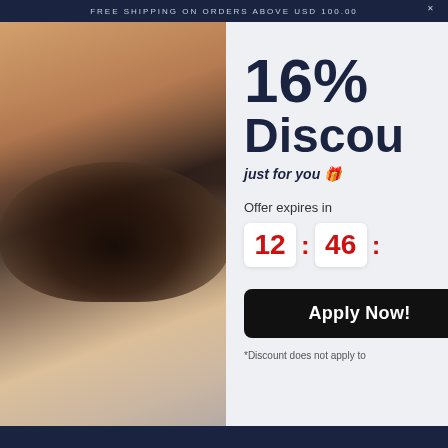FREE SHIPPING ON ORDERS ABOVE USD 100.00
[Figure (photo): Woman wearing black lace lingerie set lying on white bedding, warm lighting, lifestyle fashion product photo]
16% Discount
just for you 🎁
Offer expires in
12 : 46 :
Apply Now!
*Discount does not apply to